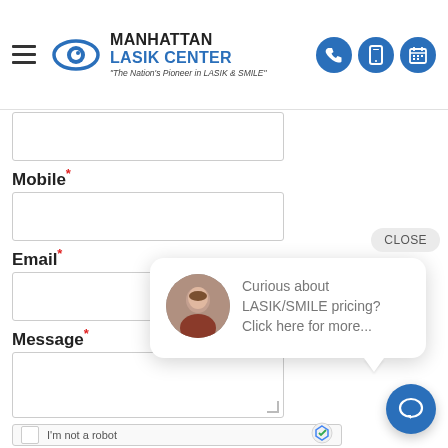MANHATTAN LASIK CENTER - "The Nation's Pioneer in LASIK & SMILE"
Mobile*
[Figure (screenshot): Mobile phone input field (text box)]
Email*
[Figure (screenshot): Email input field (text box)]
Message*
[Figure (screenshot): Message textarea (resizable)]
[Figure (infographic): Chat popup with avatar: 'Curious about LASIK/SMILE pricing? Click here for more...' and CLOSE button]
[Figure (screenshot): reCAPTCHA widget: checkbox and 'I'm not a robot' text with reCAPTCHA logo]